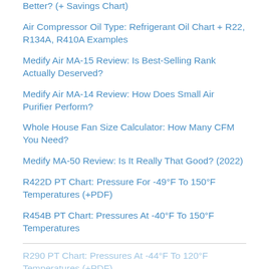Better? (+ Savings Chart)
Air Compressor Oil Type: Refrigerant Oil Chart + R22, R134A, R410A Examples
Medify Air MA-15 Review: Is Best-Selling Rank Actually Deserved?
Medify Air MA-14 Review: How Does Small Air Purifier Perform?
Whole House Fan Size Calculator: How Many CFM You Need?
Medify MA-50 Review: Is It Really That Good? (2022)
R422D PT Chart: Pressure For -49°F To 150°F Temperatures (+PDF)
R454B PT Chart: Pressures At -40°F To 150°F Temperatures
R290 PT Chart: Pressures At -44°F To 120°F Temperatures (+PDF)